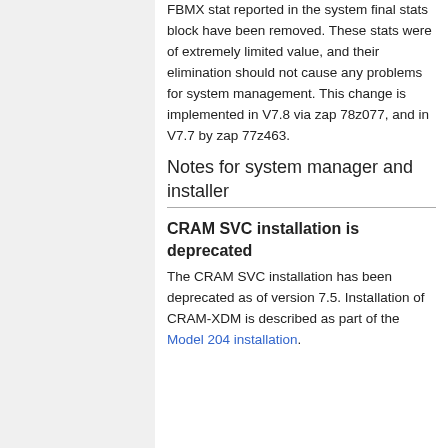FBMX stat reported in the system final stats block have been removed. These stats were of extremely limited value, and their elimination should not cause any problems for system management. This change is implemented in V7.8 via zap 78z077, and in V7.7 by zap 77z463.
Notes for system manager and installer
CRAM SVC installation is deprecated
The CRAM SVC installation has been deprecated as of version 7.5. Installation of CRAM-XDM is described as part of the Model 204 installation.